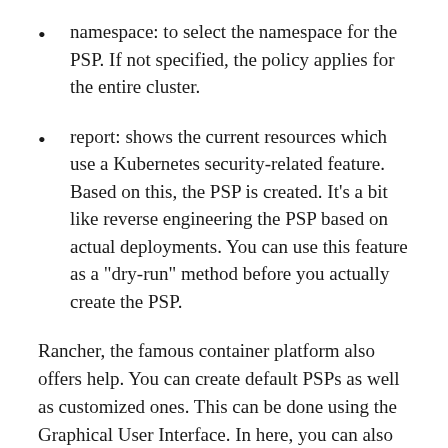namespace: to select the namespace for the PSP. If not specified, the policy applies for the entire cluster.
report: shows the current resources which use a Kubernetes security-related feature. Based on this, the PSP is created. It’s a bit like reverse engineering the PSP based on actual deployments. You can use this feature as a “dry-run” method before you actually create the PSP.
Rancher, the famous container platform also offers help. You can create default PSPs as well as customized ones. This can be done using the Graphical User Interface. In here, you can also